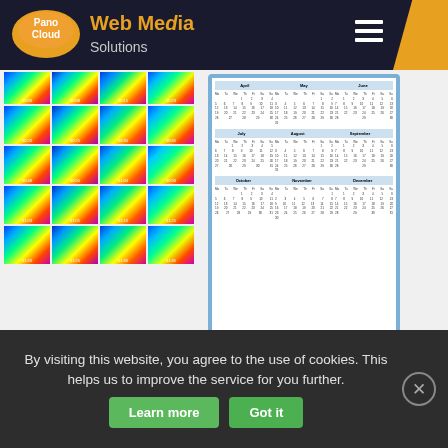[Figure (screenshot): PanoCloud Web Media Solutions website header with orange logo, navigation hamburger menu, and orange corner accent]
[Figure (screenshot): Grid of heatmap/thermal images arranged in 5 rows of 4, each with a timestamp label below]
[Figure (screenshot): Calendar view displayed on a blue background panel]
FACTS
By visiting this website, you agree to the use of cookies. This helps us to improve the service for you further.
robust outdoor one continuous operations